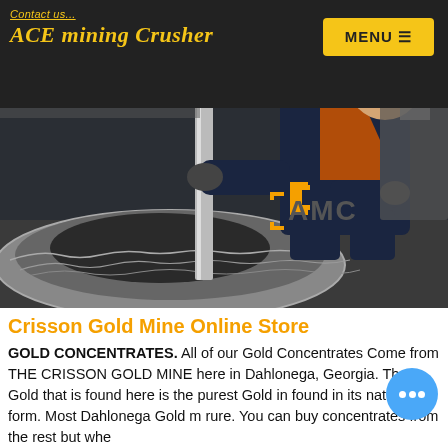Contact us   ACE mining Crusher   MENU
[Figure (photo): A worker in dark coveralls and orange vest crouching over a large circular metal cone crusher component in an industrial workshop. An AMC logo (orange and grey) is visible in the lower right of the image.]
Crisson Gold Mine Online Store
GOLD CONCENTRATES. All of our Gold Concentrates Come from THE CRISSON GOLD MINE here in Dahlonega, Georgia. The Gold that is found here is the purest Gold in found in its natural form. Most Dahlonega Gold m rure. You can buy concentrates from the rest but whe